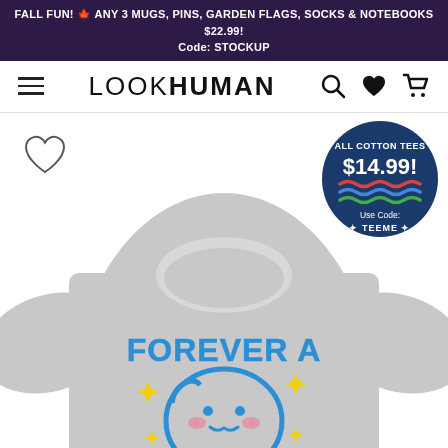FALL FUN! 🍁 ANY 3 MUGS, PINS, GARDEN FLAGS, SOCKS & NOTEBOOKS $22.99! Code: STOCKUP
[Figure (logo): LookHuman website navigation bar with hamburger menu, LOOKHUMAN logo, and search, heart, and cart icons]
[Figure (photo): Gray t-shirt with text FOREVER A and a cute kawaii blue ghost/blob character with pink cheeks and stars, and text partially visible at bottom NERD or similar. A circular navy badge overlay reads ALL COTTON TEES $14.99! Use Code: TEEME with colorful wavy lines.]